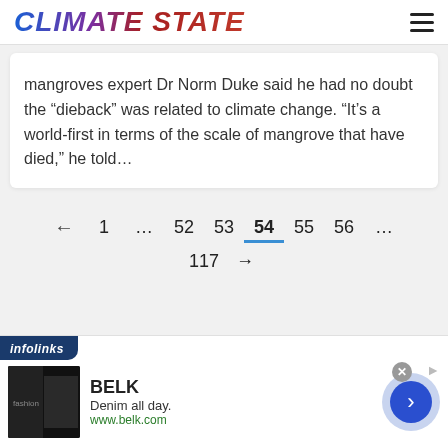CLIMATE STATE
mangroves expert Dr Norm Duke said he had no doubt the “dieback” was related to climate change. “It’s a world-first in terms of the scale of mangrove that have died,” he told…
←  1  …  52  53  54  55  56  …  117  →
[Figure (screenshot): Infolinks advertisement banner for BELK. Shows brand name BELK, tagline 'Denim all day.', URL www.belk.com, with a fashion image on the left and a forward arrow button on the right.]